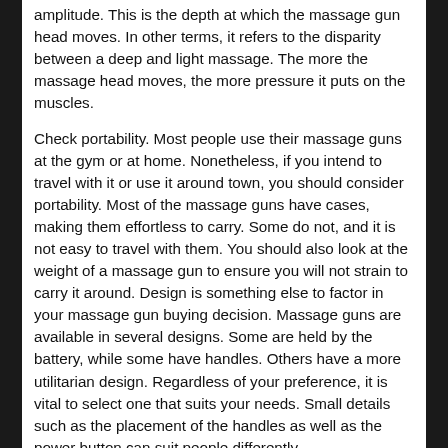amplitude. This is the depth at which the massage gun head moves. In other terms, it refers to the disparity between a deep and light massage. The more the massage head moves, the more pressure it puts on the muscles.
Check portability. Most people use their massage guns at the gym or at home. Nonetheless, if you intend to travel with it or use it around town, you should consider portability. Most of the massage guns have cases, making them effortless to carry. Some do not, and it is not easy to travel with them. You should also look at the weight of a massage gun to ensure you will not strain to carry it around. Design is something else to factor in your massage gun buying decision. Massage guns are available in several designs. Some are held by the battery, while some have handles. Others have a more utilitarian design. Regardless of your preference, it is vital to select one that suits your needs. Small details such as the placement of the handles as well as the power button can suit people differently.
Be keen on the cost. You need an appropriate massage gun, but this does not mean you should drain your pockets to get one. In its place, you should get a great massage gun at a fair rate. With the high number of massage gun brands, prices vary greatly. You should compare the prices of various brands so as to avoid overpaying. However, make sure the brands you're considering have a reputation for offering top-notch massage guns. You can do so by reading reviews and talking to people who have massage guns. This way, you will avoid overspending while being sure you'll get a massage